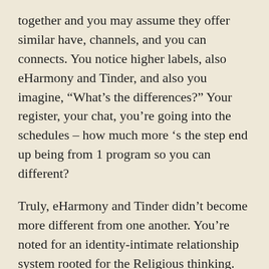together and you may assume they offer similar have, channels, and you can connects. You notice higher labels, also eHarmony and Tinder, and also you imagine, “What’s the differences?” Your register, your chat, you’re going into the schedules – how much more ‘s the step end up being from 1 program so you can different?
Truly, eHarmony and Tinder didn’t become more different from one another. You’re noted for an identity-intimate relationship system rooted for the Religious thinking. And other was, well, Tinder, the initial connectivity software.
As 2000, eHarmony will bring build inside the-breadth emotional pages and computed being compatible towards the 30 dimensions. At the same time, since the 2012, Tinder features asked american singles to determine if they also one another based on a